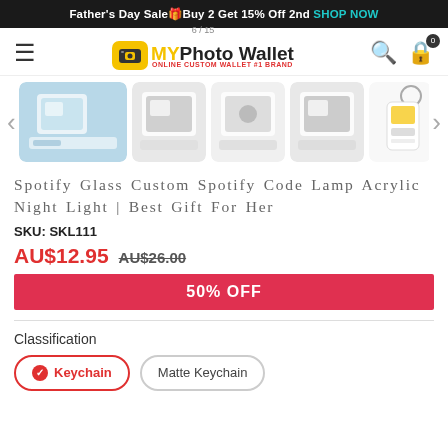Father's Day Sale🎁Buy 2 Get 15% Off 2nd SHOP NOW
[Figure (screenshot): My Photo Wallet logo with camera icon and tagline ONLINE CUSTOM WALLET #1 BRAND]
[Figure (photo): Product image carousel showing 5 thumbnails of Spotify Glass Custom Lamp in various styles, with navigation arrows]
Spotify Glass Custom Spotify Code Lamp Acrylic Night Light | Best Gift For Her
SKU: SKL111
AU$12.95  AU$26.00
50% OFF
Classification
Keychain  Matte Keychain